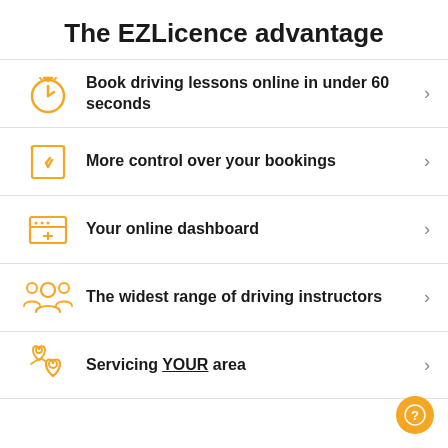The EZLicence advantage
Book driving lessons online in under 60 seconds
More control over your bookings
Your online dashboard
The widest range of driving instructors
Servicing YOUR area